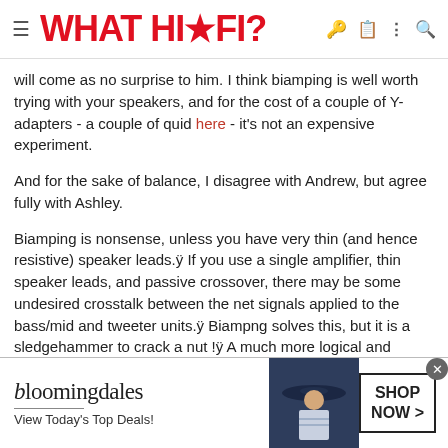WHAT HI·FI?
will come as no surprise to him. I think biamping is well worth trying with your speakers, and for the cost of a couple of Y-adapters - a couple of quid here - it's not an expensive experiment.
And for the sake of balance, I disagree with Andrew, but agree fully with Ashley.
Biamping is nonsense, unless you have very thin (and hence resistive) speaker leads.ÿ If you use a single amplifier, thin speaker leads, and passive crossover, there may be some undesired crosstalk between the net signals applied to the bass/mid and tweeter units.ÿ Biampng solves this, but it is a sledgehammer to crack a nut !ÿ A much more logical and economic solution is to use much thicker low resistance speaker leads with your existing amp.
As Ashley points out if you use biamping to...
[Figure (other): Bloomingdales advertisement banner: 'View Today's Top Deals! SHOP NOW >' with woman in wide-brim hat]